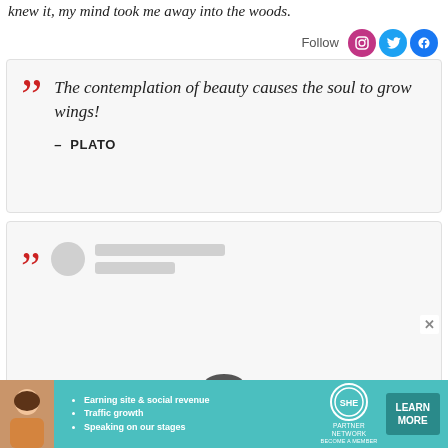knew it, my mind took me away into the woods.
Follow [Instagram] [Twitter] [Facebook]
" The contemplation of beauty causes the soul to grow wings! – PLATO
[Figure (other): A loading/skeleton quote card with red closing quotation mark, a circular avatar placeholder, and two gray loading bar lines representing a quote being loaded.]
[Figure (other): Advertisement banner: SHE Partner Network ad with woman photo, bullet points 'Earning site & social revenue', 'Traffic growth', 'Speaking on our stages', SHE PARTNER NETWORK BECOME A MEMBER logo, and LEARN MORE button.]